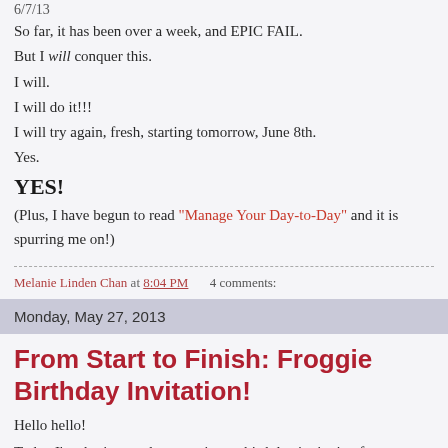6/7/13
So far, it has been over a week, and EPIC FAIL.
But I will conquer this.
I will.
I will do it!!!
I will try again, fresh, starting tomorrow, June 8th.
Yes.
YES!
(Plus, I have begun to read "Manage Your Day-to-Day" and it is spurring me on!)
Melanie Linden Chan at 8:04 PM    4 comments:
Monday, May 27, 2013
From Start to Finish: Froggie Birthday Invitation!
Hello hello!
Today I'm sharing my latest project: a birthday invitation for a cute